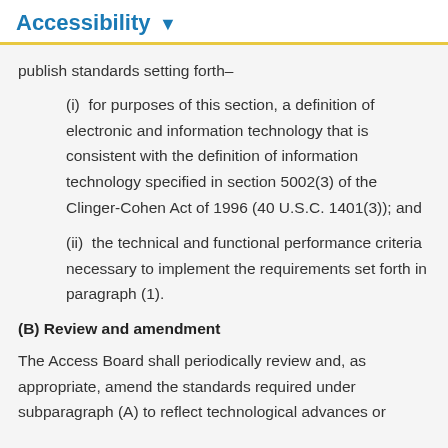Accessibility
publish standards setting forth–
(i)  for purposes of this section, a definition of electronic and information technology that is consistent with the definition of information technology specified in section 5002(3) of the Clinger-Cohen Act of 1996 (40 U.S.C. 1401(3)); and
(ii)  the technical and functional performance criteria necessary to implement the requirements set forth in paragraph (1).
(B) Review and amendment
The Access Board shall periodically review and, as appropriate, amend the standards required under subparagraph (A) to reflect technological advances or...